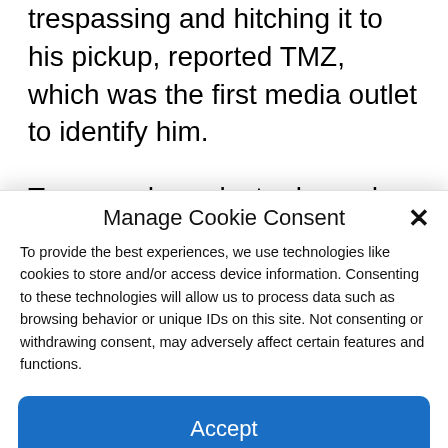trespassing and hitching it to his pickup, reported TMZ, which was the first media outlet to identify him.
Townsend was last released from a Florida prison in July of 2020 after serving 15 months of a 25-month sentence for that incident and his use of a fraudulent personal
Manage Cookie Consent
To provide the best experiences, we use technologies like cookies to store and/or access device information. Consenting to these technologies will allow us to process data such as browsing behavior or unique IDs on this site. Not consenting or withdrawing consent, may adversely affect certain features and functions.
Accept
Cookie Policy